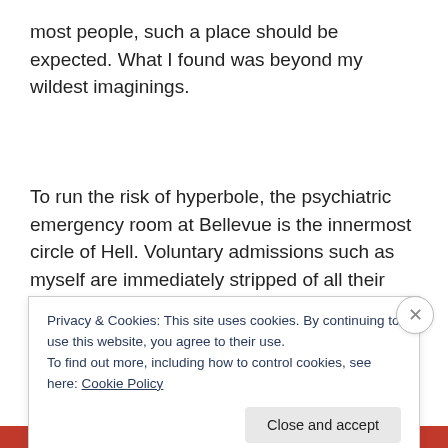most people, such a place should be expected. What I found was beyond my wildest imaginings.
To run the risk of hyperbole, the psychiatric emergency room at Bellevue is the innermost circle of Hell. Voluntary admissions such as myself are immediately stripped of all their belongings, including the telephone by which you can let people know where you are and that you are OK. Jail is
Privacy & Cookies: This site uses cookies. By continuing to use this website, you agree to their use.
To find out more, including how to control cookies, see here: Cookie Policy